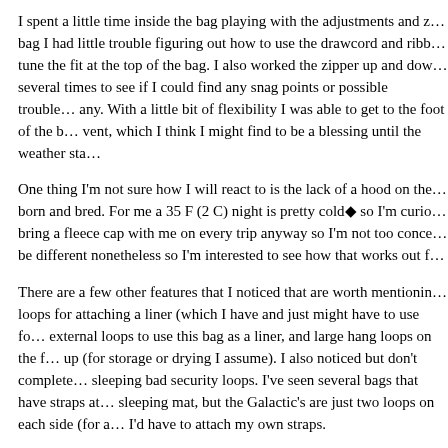I spent a little time inside the bag playing with the adjustments and z… bag I had little trouble figuring out how to use the drawcord and ribb… tune the fit at the top of the bag. I also worked the zipper up and dow… several times to see if I could find any snag points or possible trouble… any. With a little bit of flexibility I was able to get to the foot of the b… vent, which I think I might find to be a blessing until the weather sta…
One thing I'm not sure how I will react to is the lack of a hood on the… born and bred. For me a 35 F (2 C) night is pretty cold◆ so I'm curio… bring a fleece cap with me on every trip anyway so I'm not too conce… be different nonetheless so I'm interested to see how that works out f…
There are a few other features that I noticed that are worth mentionin… loops for attaching a liner (which I have and just might have to use fo… external loops to use this bag as a liner, and large hang loops on the f… up (for storage or drying I assume). I also noticed but don't complete… sleeping bad security loops. I've seen several bags that have straps at… sleeping mat, but the Galactic's are just two loops on each side (for a… I'd have to attach my own straps.
Also included were a large storage sack and stuff sack for the Galact… nice quality and is a good size for the bag and I am using it for my ge… The stuff sack, on the other hand, leaves much to be desired. Frankly… the size when I pack the bag into the stuff sack. It is not a compressio… bulky when stuff. Further, the stuff sack does not seem particularly…